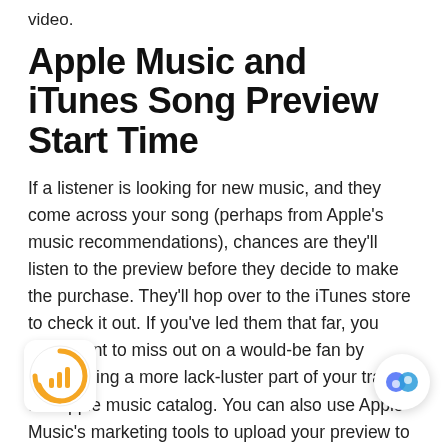video.
Apple Music and iTunes Song Preview Start Time
If a listener is looking for new music, and they come across your song (perhaps from Apple's music recommendations), chances are they'll listen to the preview before they decide to make the purchase. They'll hop over to the iTunes store to check it out. If you've led them that far, you don't want to miss out on a would-be fan by showcasing a more lack-luster part of your track in the Apple music catalog. You can also use Apple Music's marketing tools to upload your preview to Twitter or embed it as an audio player on a You can read more about the marketing Apple Music for Artists support page here.
If you want to get the most out of your TikTok song